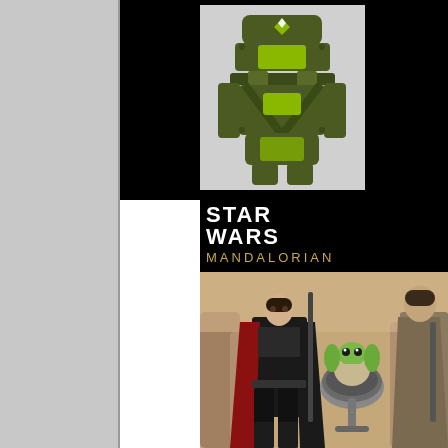[Figure (photo): Green Mandalorian armor piece/shield with yellow-green accents and Mandalorian symbol, photographed against a light gray background]
[Figure (photo): Star Wars The Mandalorian action figure set packaging image showing Moff Gideon figure with staff, Baby Yoda (The Child) in hover pod, and partial third figure, with Star Wars and Mandalorian logo at top on black background]